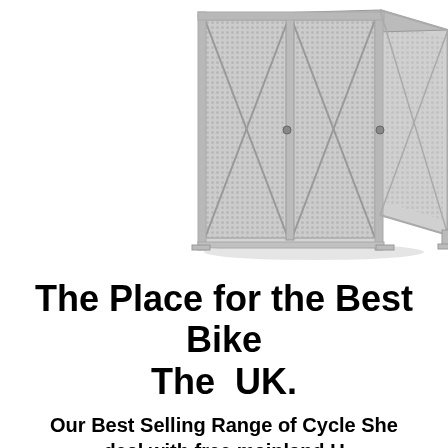[Figure (photo): Metal bike storage shed/locker with perforated steel mesh doors and grey tubular frame, shown on white background. Doors have diagonal cross-bracing. Structure has floor-mounting flanges.]
The Place for the Best Bike Sheds in The UK.
Our Best Selling Range of Cycle Sheds deal with free mainland UK delivery
Telephone: 0121 5...